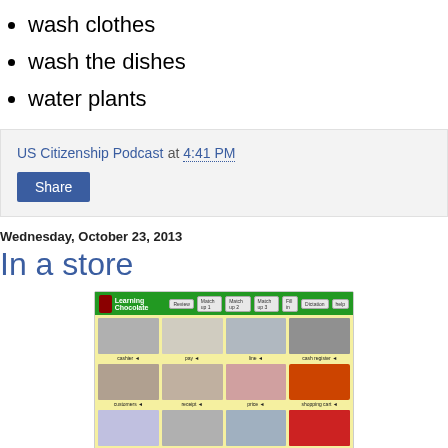wash clothes
wash the dishes
water plants
US Citizenship Podcast at 4:41 PM
Share
Wednesday, October 23, 2013
In a store
[Figure (screenshot): Screenshot of Learning Chocolate educational website showing store vocabulary with images labeled: cashier, pay, line, cash register, receipt, price, basket, shopping cart, customers, change, convenience store, sale, and more. Green interface with yellow content area.]